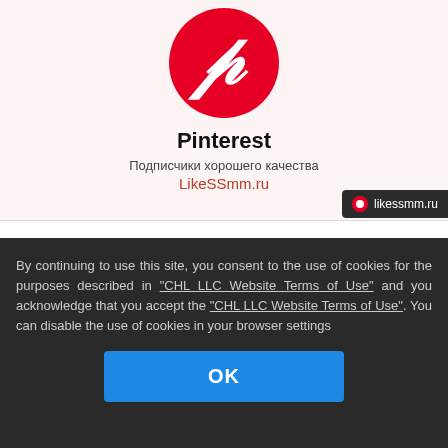[Figure (logo): Pinterest logo: red circle with white italic P letter]
Pinterest
Подписчики хорошего качества LikeSSmm.ru
likessmm.ru
SMM-Панель привлеки новых подписчиков
By continuing to use this site, you consent to the use of cookies for the purposes described in "CHL LLC Website Terms of Use" and you acknowledge that you accept the "CHL LLC Website Terms of Use". You can disable the use of cookies in your browser settings
OK